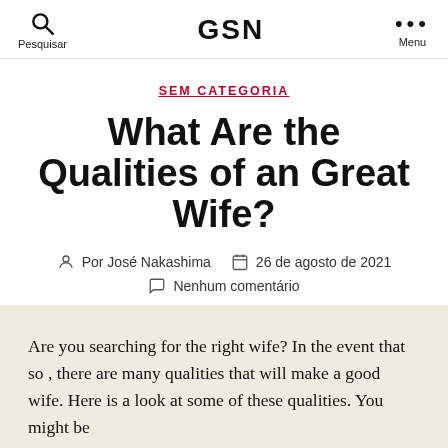Pesquisar  GSN  Menu
SEM CATEGORIA
What Are the Qualities of an Great Wife?
Por José Nakashima  26 de agosto de 2021  Nenhum comentário
Are you searching for the right wife? In the event that so , there are many qualities that will make a good wife. Here is a look at some of these qualities. You might be